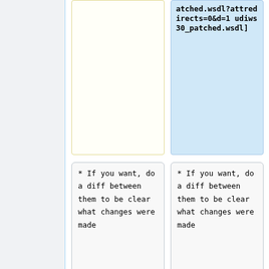atched.wsdl?attredirects=0&d=1 udiws30_patched.wsdl]
* If you want, do a diff between them to be clear what changes were made
* If you want, do a diff between them to be clear what changes were made
Revision as of 05:14, 19 December 2012
How to program/consume UDI web services in Java